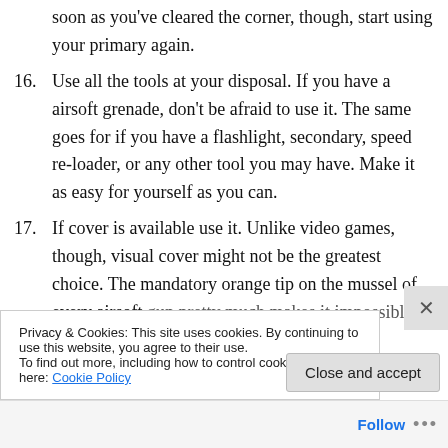soon as you've cleared the corner, though, start using your primary again.
16. Use all the tools at your disposal. If you have a airsoft grenade, don't be afraid to use it. The same goes for if you have a flashlight, secondary, speed re-loader, or any other tool you may have. Make it as easy for yourself as you can.
17. If cover is available use it. Unlike video games, though, visual cover might not be the greatest choice. The mandatory orange tip on the mussel of every airsoft gun pretty much makes it impossible to try to hide. If
Privacy & Cookies: This site uses cookies. By continuing to use this website, you agree to their use.
To find out more, including how to control cookies, see here: Cookie Policy
Close and accept
Follow ...